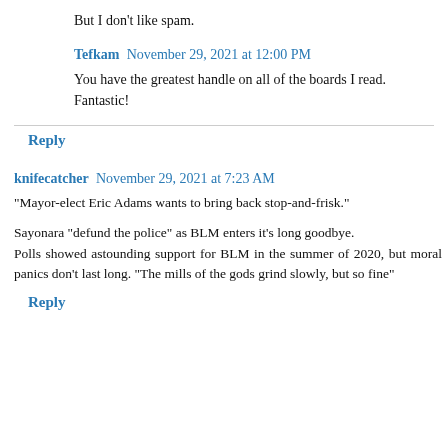But I don't like spam.
Tefkam  November 29, 2021 at 12:00 PM
You have the greatest handle on all of the boards I read. Fantastic!
Reply
knifecatcher  November 29, 2021 at 7:23 AM
"Mayor-elect Eric Adams wants to bring back stop-and-frisk."
Sayonara "defund the police" as BLM enters it's long goodbye.
Polls showed astounding support for BLM in the summer of 2020, but moral panics don't last long. "The mills of the gods grind slowly, but so fine"
Reply